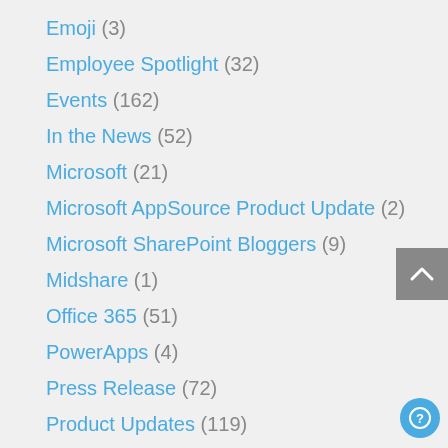Emoji (3)
Employee Spotlight (32)
Events (162)
In the News (52)
Microsoft (21)
Microsoft AppSource Product Update (2)
Microsoft SharePoint Bloggers (9)
Midshare (1)
Office 365 (51)
PowerApps (4)
Press Release (72)
Product Updates (119)
Products (305)
SharePoint 2010 (171)